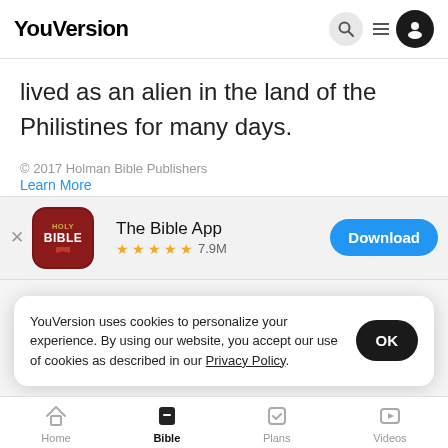YouVersion
lived as an alien in the land of the Philistines for many days.
© 2017 Holman Bible Publishers
Learn More
[Figure (screenshot): The Bible App app store banner with Holy Bible icon, star rating 7.9M reviews, and Download button]
YouVersion uses cookies to personalize your experience. By using our website, you accept our use of cookies as described in our Privacy Policy.
Home  Bible  Plans  Videos